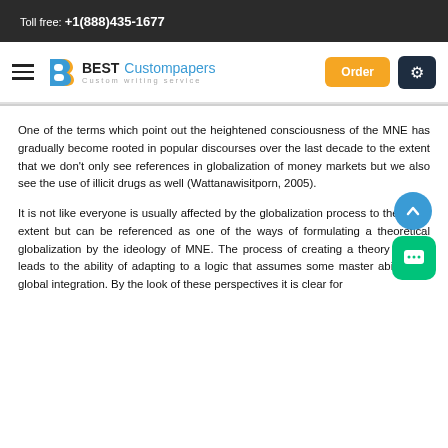Toll free: +1(888)435-1677
BEST Custompapers — Custom writing service
One of the terms which point out the heightened consciousness of the MNE has gradually become rooted in popular discourses over the last decade to the extent that we don't only see references in globalization of money markets but we also see the use of illicit drugs as well (Wattanawisitporn, 2005).
It is not like everyone is usually affected by the globalization process to the same extent but can be referenced as one of the ways of formulating a theoretical globalization by the ideology of MNE. The process of creating a theory usually leads to the ability of adapting to a logic that assumes some master abilities of global integration. By the look of these perspectives it is clear for